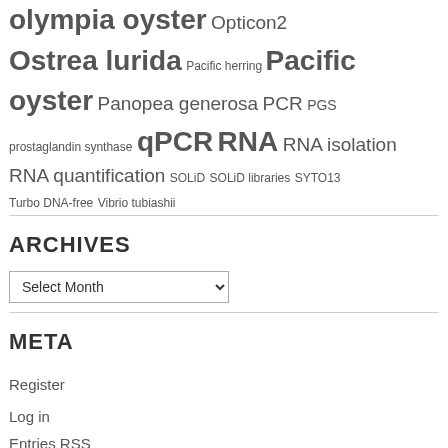olympia oyster Opticon2 Ostrea lurida Pacific herring Pacific oyster Panopea generosa PCR PGS prostaglandin synthase qPCR RNA RNA isolation RNA quantification SOLiD SOLiD libraries SYTO13 Turbo DNA-free Vibrio tubiashii
ARCHIVES
Select Month
META
Register
Log in
Entries RSS